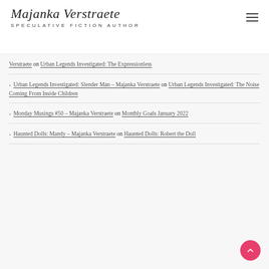Majanka Verstraete — SPECULATIVE FICTION AUTHOR
Verstraete on Urban Legends Investigated: The Expressionless
Urban Legends Investigated: Slender Man – Majanka Verstraete on Urban Legends Investigated: The Noise Coming From Inside Children
Monday Musings #50 – Majanka Verstraete on Monthly Goals January 2022
Haunted Dolls: Mandy – Majanka Verstraete on Haunted Dolls: Robert the Doll